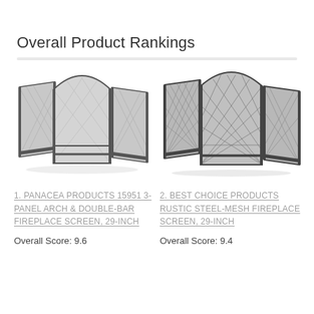Overall Product Rankings
[Figure (photo): Panacea Products 15951 3-Panel Arch & Double-Bar Fireplace Screen, black metal mesh, three-panel folding design]
1. PANACEA PRODUCTS 15951 3-PANEL ARCH & DOUBLE-BAR FIREPLACE SCREEN, 29-INCH
Overall Score: 9.6
[Figure (photo): Best Choice Products Rustic Steel-Mesh Fireplace Screen, black metal diamond mesh, three-panel folding design]
2. BEST CHOICE PRODUCTS RUSTIC STEEL-MESH FIREPLACE SCREEN, 29-INCH
Overall Score: 9.4